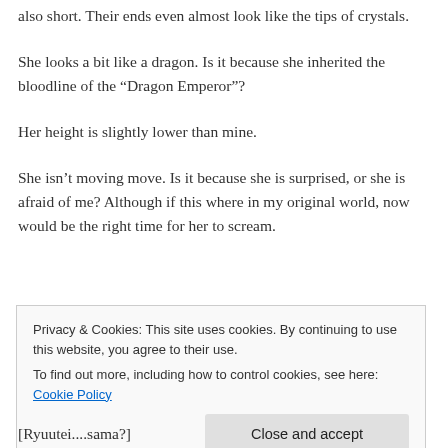also short.  Their ends even almost look like the tips of crystals.
She looks a bit like a dragon.  Is it because she inherited the bloodline of the “Dragon Emperor”?
Her height is slightly lower than mine.
She isn’t moving move.  Is it because she is surprised, or she is afraid of me?  Although if this where in my original world, now would be the right time for her to scream.
Privacy & Cookies: This site uses cookies. By continuing to use this website, you agree to their use. To find out more, including how to control cookies, see here: Cookie Policy
[Ryuutei....sama?]